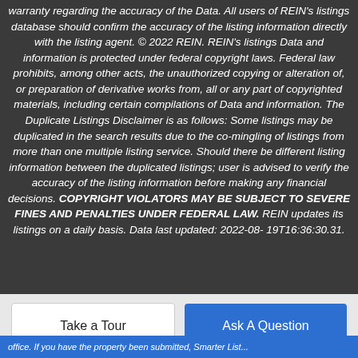Broker members, and REIN, therefore, makes no representation or warranty regarding the accuracy of the Data. All users of REIN's listings database should confirm the accuracy of the listing information directly with the listing agent. © 2022 REIN. REIN's listings Data and information is protected under federal copyright laws. Federal law prohibits, among other acts, the unauthorized copying or alteration of, or preparation of derivative works from, all or any part of copyrighted materials, including certain compilations of Data and information. The Duplicate Listings Disclaimer is as follows: Some listings may be duplicated in the search results due to the co-mingling of listings from more than one multiple listing service. Should there be different listing information between the duplicated listings; user is advised to verify the accuracy of the listing information before making any financial decisions. COPYRIGHT VIOLATORS MAY BE SUBJECT TO SEVERE FINES AND PENALTIES UNDER FEDERAL LAW. REIN updates its listings on a daily basis. Data last updated: 2022-08-19T16:36:30.31.